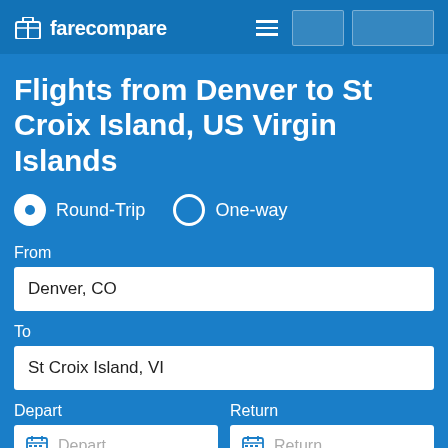farecompare
Flights from Denver to St Croix Island, US Virgin Islands
Round-Trip  One-way
From
Denver, CO
To
St Croix Island, VI
Depart  Return
Depart
Return
1 traveler
Nonstop